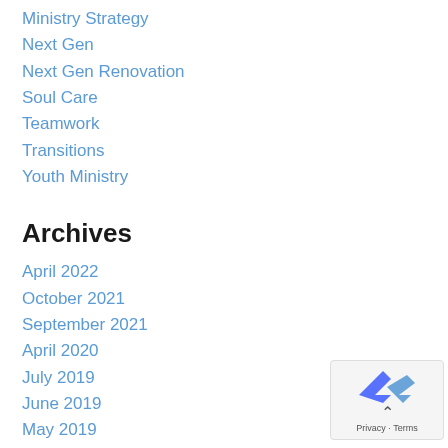Ministry Strategy
Next Gen
Next Gen Renovation
Soul Care
Teamwork
Transitions
Youth Ministry
Archives
April 2022
October 2021
September 2021
April 2020
July 2019
June 2019
May 2019